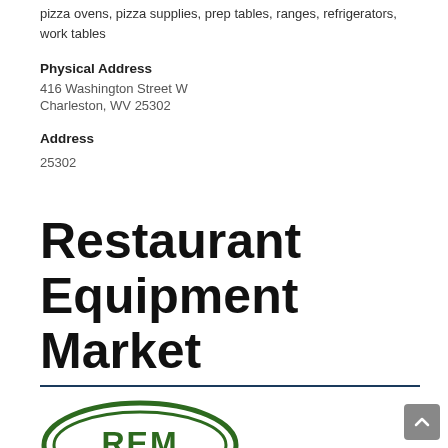pizza ovens, pizza supplies, prep tables, ranges, refrigerators, work tables
Physical Address
416 Washington Street W
Charleston, WV 25302
Address
25302
Restaurant Equipment Market
[Figure (logo): REM (Restaurant Equipment Market) logo - green oval with REM text and 'Since 1992' tagline]
Location   Atlanta, Georgia